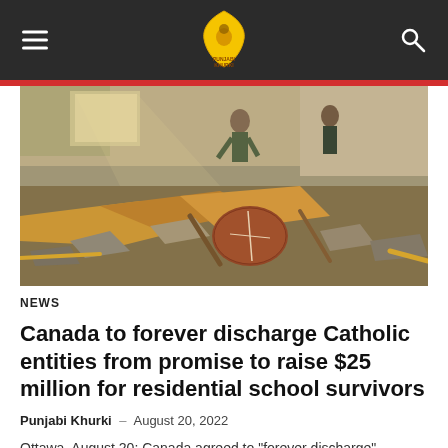Punjabi Khurki — navigation header with hamburger menu, logo, and search icon
[Figure (photo): Photo of a demolished building interior filled with debris, rubble, broken furniture, and a deflated football among scattered construction materials. People visible in the background near a damaged wall.]
NEWS
Canada to forever discharge Catholic entities from promise to raise $25 million for residential school survivors
Punjabi Khurki – August 20, 2022
Ottawa, August 20: Canada agreed to "forever discharge" Catholic entities from their promise to raise $25 million for residential school survivors and also picked...